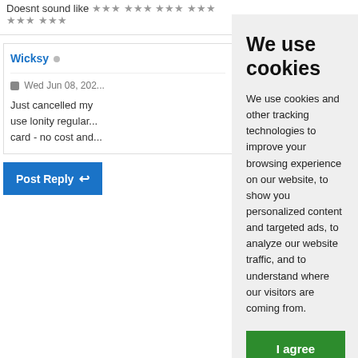Doesnt sound like *** *** *** ***
Wicksy
Wed Jun 08, 202...
Just cancelled my ... use lonity regular... card - no cost and...
Post Reply
We use cookies
We use cookies and other tracking technologies to improve your browsing experience on our website, to show you personalized content and targeted ads, to analyze our website traffic, and to understand where our visitors are coming from.
I agree
Change my preferences